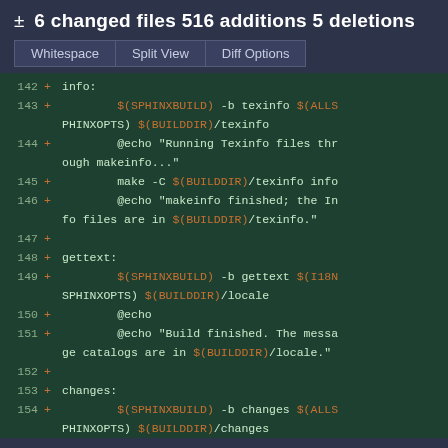± 6 changed files 516 additions 5 deletions
Whitespace | Split View | Diff Options
[Figure (screenshot): Code diff view showing lines 142-154 of a Makefile with additions marked with + signs. Lines include make targets: info, gettext, changes with Sphinx build commands using $(SPHINXBUILD), $(ALLSPHINXOPTS), $(BUILDDIR), $(I18NSPHINXOPTS) variables shown in orange.]